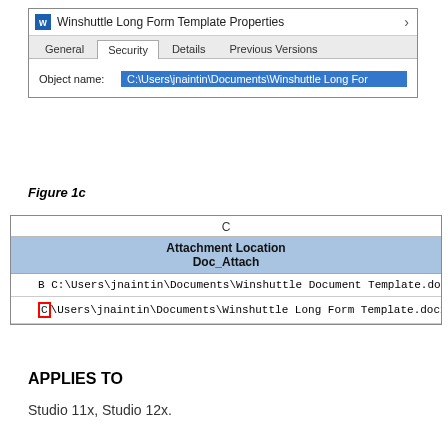[Figure (screenshot): Windows file properties dialog showing 'Winshuttle Long Form Template Properties' with tabs: General, Security (active), Details, Previous Versions. Object name field shows: C:\Users\jnaintin\Documents\Winshuttle Long For]
Figure 1c
[Figure (screenshot): Spreadsheet view with column C header 'Attachment Location / Doc_Attach'. Row 1: C:\Users\jnaintin\Documents\Winshuttle Document Template.docx. Row 2 (selected, C highlighted in red): C:\Users\jnaintin\Documents\Winshuttle Long Form Template.docx]
APPLIES TO
Studio 11x, Studio 12x.